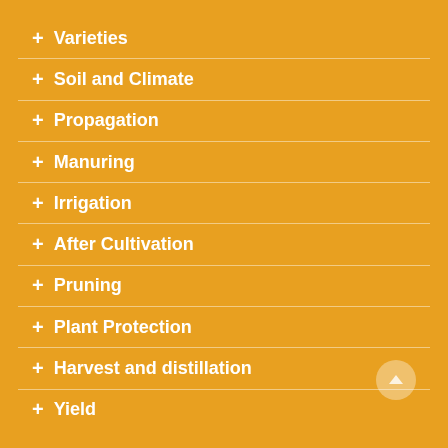+ Varieties
+ Soil and Climate
+ Propagation
+ Manuring
+ Irrigation
+ After Cultivation
+ Pruning
+ Plant Protection
+ Harvest and distillation
+ Yield